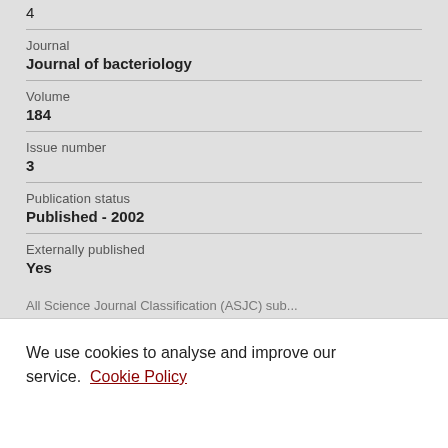4
Journal
Journal of bacteriology
Volume
184
Issue number
3
Publication status
Published - 2002
Externally published
Yes
All Science Journal Classification (ASJC) sub...
We use cookies to analyse and improve our service. Cookie Policy